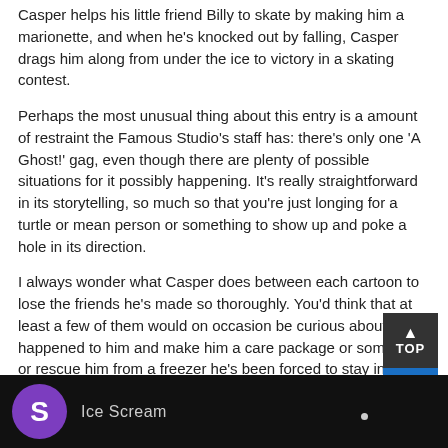Casper helps his little friend Billy to skate by making him a marionette, and when he's knocked out by falling, Casper drags him along from under the ice to victory in a skating contest.
Perhaps the most unusual thing about this entry is a amount of restraint the Famous Studio's staff has: there's only one 'A Ghost!' gag, even though there are plenty of possible situations for it possibly happening. It's really straightforward in its storytelling, so much so that you're just longing for a turtle or mean person or something to show up and poke a hole in its direction.
I always wonder what Casper does between each cartoon to lose the friends he's made so thoroughly. You'd think that at least a few of them would on occasion be curious about what happened to him and make him a care package or something, or rescue him from a freezer he's been forced to stay in!
Here's Ice Scream from an original theatrical 35mm print, in glorious IB Technicolor. Have a good week all!
[Figure (screenshot): Video thumbnail showing dark background with purple circle logo containing letter S and partial text 'Ice Scream' visible. A 'TOP' button with upward arrow is overlaid in the top-right area.]